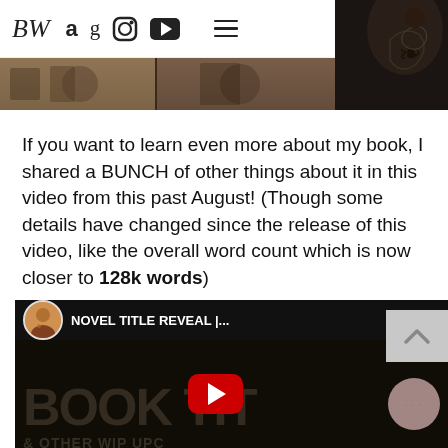[Figure (screenshot): Website navigation bar with logo (BW in cursive), Amazon, Goodreads, Instagram, YouTube icons, and hamburger menu]
[Figure (photo): Top portion of a book cover or banner image — dark atmospheric scene on left, person with tattoo on right]
If you want to learn even more about my book, I shared a BUNCH of other things about it in this video from this past August! (Though some details have changed since the release of this video, like the overall word count which is now closer to 128k words)
[Figure (screenshot): YouTube video embed showing 'NOVEL TITLE REVEAL |...' with book title thumbnail and play button]